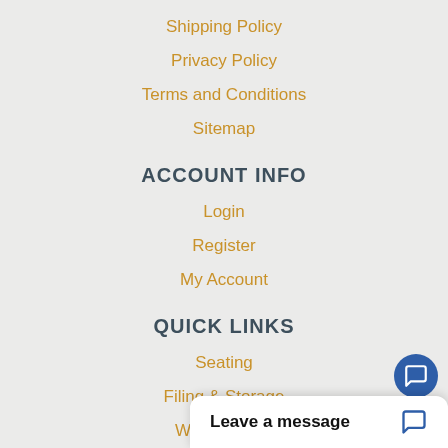Shipping Policy
Privacy Policy
Terms and Conditions
Sitemap
ACCOUNT INFO
Login
Register
My Account
QUICK LINKS
Seating
Filing & Storage
Workstations
Leave a message